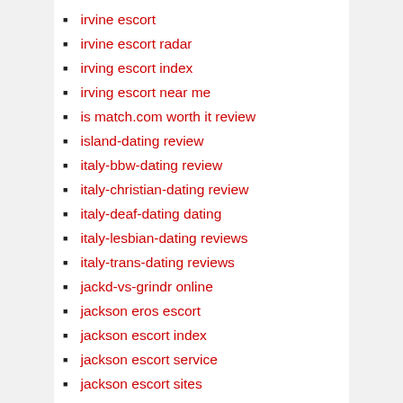irvine escort
irvine escort radar
irving escort index
irving escort near me
is match.com worth it review
island-dating review
italy-bbw-dating review
italy-christian-dating review
italy-deaf-dating dating
italy-lesbian-dating reviews
italy-trans-dating reviews
jackd-vs-grindr online
jackson eros escort
jackson escort index
jackson escort service
jackson escort sites